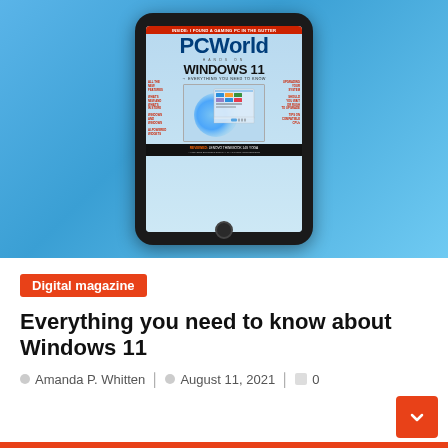[Figure (photo): PCWorld magazine cover displayed on a tablet device. The cover features headlines about Windows 11 with text 'HANDS ON WINDOWS 11 — EVERYTHING YOU NEED TO KNOW' and 'REVIEWED: LENOVO THINKBOOK 14S YOGA'. The background is a light blue gradient.]
Digital magazine
Everything you need to know about Windows 11
Amanda P. Whitten   August 11, 2021   0